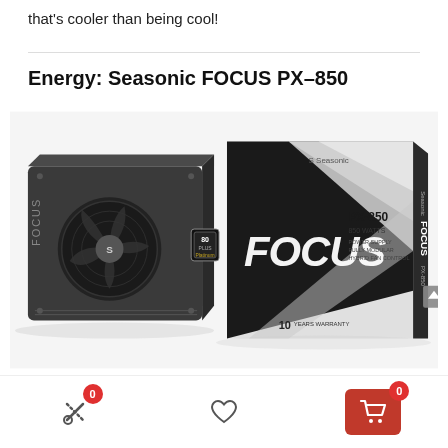that's cooler than being cool!
Energy: Seasonic FOCUS PX-850
[Figure (photo): Seasonic FOCUS PX-850 power supply unit alongside its retail box. The PSU is black with a large fan, Seasonic logo on the fan hub. The box features a geometric silver and black design with 'FOCUS PX-850 850 WATTS' text, 80 Plus Platinum badge, and '10 Years Warranty' label.]